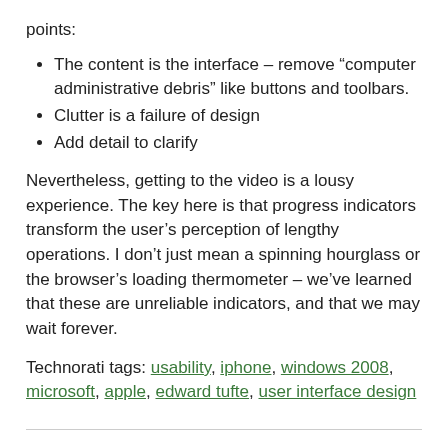points:
The content is the interface – remove “computer administrative debris” like buttons and toolbars.
Clutter is a failure of design
Add detail to clarify
Nevertheless, getting to the video is a lousy experience. The key here is that progress indicators transform the user’s perception of lengthy operations. I don’t just mean a spinning hourglass or the browser’s loading thermometer – we’ve learned that these are unreliable indicators, and that we may wait forever.
Technorati tags: usability, iphone, windows 2008, microsoft, apple, edward tufte, user interface design